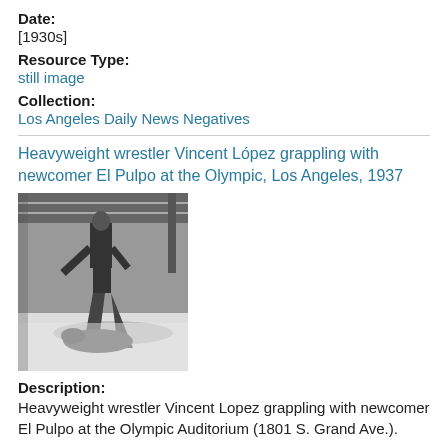Date:
[1930s]
Resource Type:
still image
Collection:
Los Angeles Daily News Negatives
Heavyweight wrestler Vincent López grappling with newcomer El Pulpo at the Olympic, Los Angeles, 1937
[Figure (photo): Black and white photograph of heavyweight wrestler Vincent López grappling with newcomer El Pulpo at a wrestling ring, 1937]
Description:
Heavyweight wrestler Vincent Lopez grappling with newcomer El Pulpo at the Olympic Auditorium (1801 S. Grand Ave.).